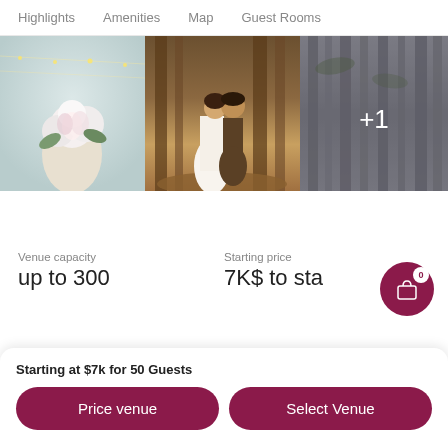Highlights   Amenities   Map   Guest Rooms
[Figure (photo): Three venue photos: floral bouquet arrangement under tent lights, wedding couple kissing among large banyan trees, forest/bamboo trees scene with +1 overlay badge]
Venue capacity
up to 300
Starting price
7K$ to sta
Starting at $7k for 50 Guests
Price venue
Select Venue